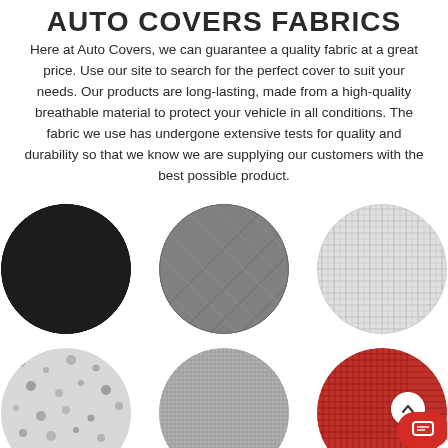AUTO COVERS FABRICS
Here at Auto Covers, we can guarantee a quality fabric at a great price. Use our site to search for the perfect cover to suit your needs. Our products are long-lasting, made from a high-quality breathable material to protect your vehicle in all conditions. The fabric we use has undergone extensive tests for quality and durability so that we know we are supplying our customers with the best possible product.
[Figure (photo): Six circular fabric swatches showing different textile textures: black mesh, grey quilted fabric, white/light woven fabric, white foam with dark spots, grey fine mesh, and red woven fabric with UI overlay elements (chat button and up arrow).]